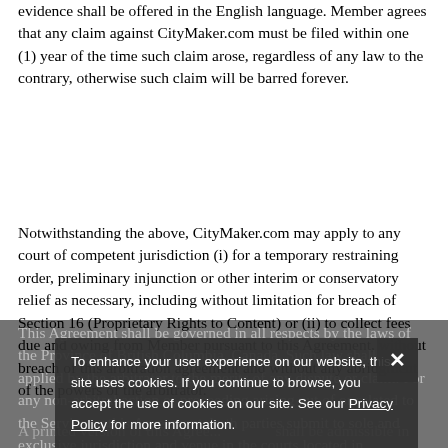evidence shall be offered in the English language. Member agrees that any claim against CityMaker.com must be filed within one (1) year of the time such claim arose, regardless of any law to the contrary, otherwise such claim will be barred forever.
Notwithstanding the above, CityMaker.com may apply to any court of competent jurisdiction (i) for a temporary restraining order, preliminary injunction or other interim or conservatory relief as necessary, including without limitation for breach of Section 16 (Proprietary Rights to Content) or (ii) to collect fees due and owing from Member pursuant to this Agreement, without breach of this arbitration agreement and without any abridgment of the powers of the arbitrator.
This Agreement shall be governed in all respects by the laws of the Province of British Columbia, Canada. Such law shall be applied by the arbitrator to the merits of any dispute or claim. For any non-arbitral action or proceeding arising out of or related to the Service or this Agreement, both parties submit to sole and exclusive jurisdiction and venue in the courts located in Vancouver, Canada and further agree that any such action or proceeding shall be brought in a court in Vancouver, British Columbia.
To enhance your user experience on our website, this site uses cookies. If you continue to browse, you accept the use of cookies on our site. See our Privacy Policy for more information.
A printed version of this Agreement shall be admissible in